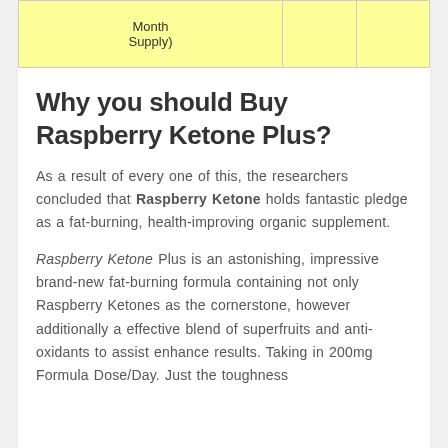| Month Supply) |  |  |
| --- | --- | --- |
|  |  |  |
Why you should Buy Raspberry Ketone Plus?
As a result of every one of this, the researchers concluded that Raspberry Ketone holds fantastic pledge as a fat-burning, health-improving organic supplement.
Raspberry Ketone Plus is an astonishing, impressive brand-new fat-burning formula containing not only Raspberry Ketones as the cornerstone, however additionally a effective blend of superfruits and anti-oxidants to assist enhance results. Taking in 200mg Formula Dose/Day. Just the toughness